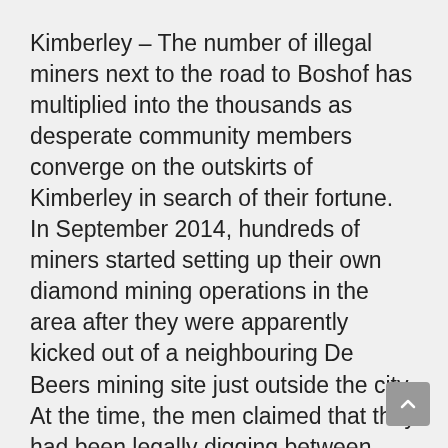Kimberley – The number of illegal miners next to the road to Boshof has multiplied into the thousands as desperate community members converge on the outskirts of Kimberley in search of their fortune.
In September 2014, hundreds of miners started setting up their own diamond mining operations in the area after they were apparently kicked out of a neighbouring De Beers mining site just outside the city.
At the time, the men claimed that they had been legally digging between Samaria Road and the Kimberley Caravan Park for around